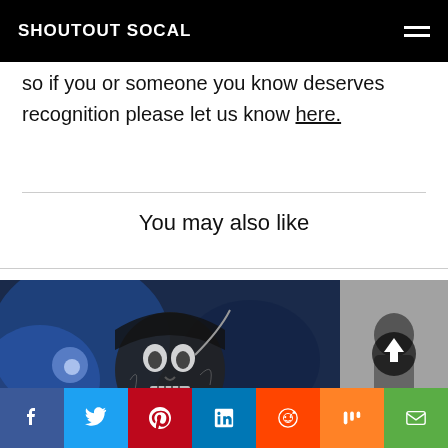SHOUTOUT SOCAL
so if you or someone you know deserves recognition please let us know here.
You may also like
[Figure (photo): Performer on stage wearing a skull mask, blue stage lighting in background]
[Figure (photo): Black and white partial photo with circular up-arrow button overlay]